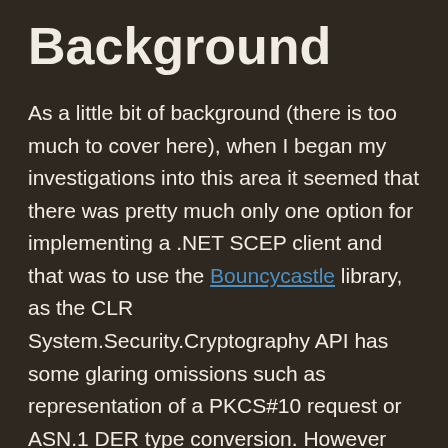Background
As a little bit of background (there is too much to cover here), when I began my investigations into this area it seemed that there was pretty much only one option for implementing a .NET SCEP client and that was to use the Bouncycastle library, as the CLR System.Security.Cryptography API has some glaring omissions such as representation of a PKCS#10 request or ASN.1 DER type conversion. However this didn't turn out to be quite the option that I